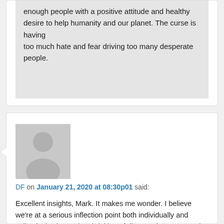enough people with a positive attitude and healthy desire to help humanity and our planet. The curse is having too much hate and fear driving too many desperate people.
[Figure (illustration): Generic user avatar: grey silhouette of a person (head and shoulders) on a grey background]
DF on January 21, 2020 at 08:30p01 said:
Excellent insights, Mark. It makes me wonder. I believe we're at a serious inflection point both individually and collectively, due to the shrinking of distance between us via social media and the acceleration/ inundation of information via the Internet & the "always on" media cycle. The top-heavy 1% struggle to control the narrative, the